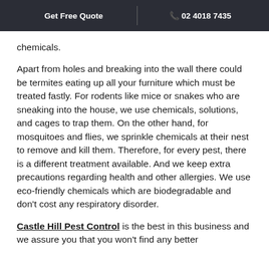Get Free Quote  |  02 4018 7435
chemicals.
Apart from holes and breaking into the wall there could be termites eating up all your furniture which must be treated fastly. For rodents like mice or snakes who are sneaking into the house, we use chemicals, solutions, and cages to trap them. On the other hand, for mosquitoes and flies, we sprinkle chemicals at their nest to remove and kill them. Therefore, for every pest, there is a different treatment available. And we keep extra precautions regarding health and other allergies. We use eco-friendly chemicals which are biodegradable and don't cost any respiratory disorder.
Castle Hill Pest Control is the best in this business and we assure you that you won't find any better